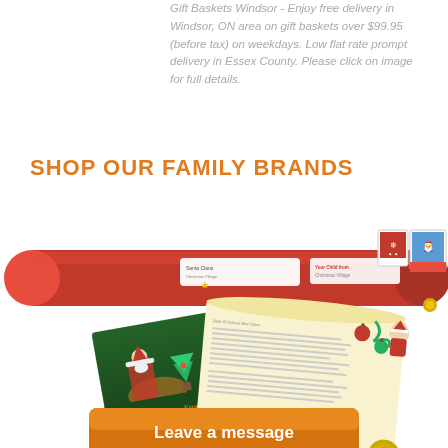Gift Baskets Windsor - Enjoy free delivery in Windsor, ON area on gift baskets over $99.95 (before tax) on weekdays. Low flat rate prompt delivery in Essex County. Please click on image for full details.
SHOP OUR FAMILY BRANDS
[Figure (illustration): A Christmas-themed illustration showing a red mailing tube with address labels and postage stamps, a greeting card showing Santa Claus by a fireplace with text 'Greetings From Santa Claus', and a scrolled letter signed 'Santa Claus' with Christmas decorations. At the bottom is an orange rounded-rectangle button that reads 'Leave a message'.]